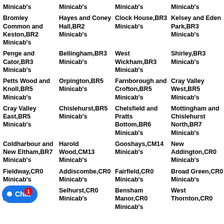Minicab's
Minicab's
Minicab's
Minicab's
Bromley Common and Keston,BR2 Minicab's
Hayes and Coney Hall,BR2 Minicab's
Clock House,BR3 Minicab's
Kelsey and Eden Park,BR3 Minicab's
Penge and Cator,BR3 Minicab's
Bellingham,BR3 Minicab's
West Wickham,BR3 Minicab's
Shirley,BR3 Minicab's
Petts Wood and Knoll,BR5 Minicab's
Orpington,BR5 Minicab's
Farnborough and Crofton,BR5 Minicab's
Cray Valley West,BR5 Minicab's
Cray Valley East,BR5 Minicab's
Chislehurst,BR5 Minicab's
Chelsfield and Pratts Bottom,BR6 Minicab's
Mottingham and Chislehurst North,BR7 Minicab's
Coldharbour and New Eltham,BR7 Minicab's
Harold Wood,CM13 Minicab's
Gooshays,CM14 Minicab's
New Addington,CR0 Minicab's
Fieldway,CR0 Minicab's
Addiscombe,CR0 Minicab's
Fairfield,CR0 Minicab's
Broad Green,CR0 Minicab's
W...,CR0 Minicab's
Selhurst,CR0 Minicab's
Bensham Manor,CR0 Minicab's
West Thornton,CR0